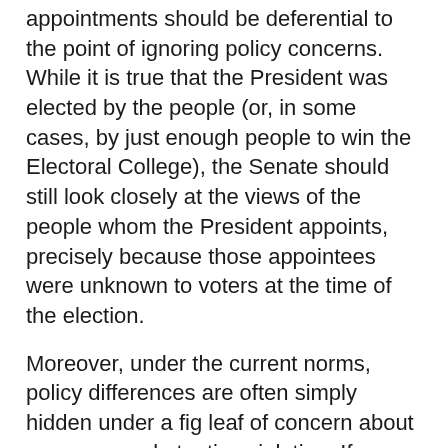appointments should be deferential to the point of ignoring policy concerns. While it is true that the President was elected by the people (or, in some cases, by just enough people to win the Electoral College), the Senate should still look closely at the views of the people whom the President appoints, precisely because those appointees were unknown to voters at the time of the election.
Moreover, under the current norms, policy differences are often simply hidden under a fig leaf of concern about some non-substantive violation. If we are going to have honesty in government, why not start with being honest about why we support or oppose appointees?
Even if we accept the idea that the only legitimate grounds on which to oppose a presidential appointee are procedural, however, the bar is currently set far too low. Earlier this week, the Senate confirmed the appointment of Timothy Geithner to be Treasury Secretary. While I opposed his selection on policy grounds, I suspect that he would have been acceptable to a majority of the Senate if they had voted purely based on his policy views. As we all know, however,